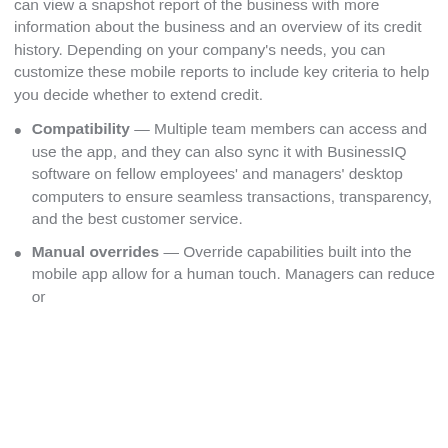can view a snapshot report of the business with more information about the business and an overview of its credit history. Depending on your company's needs, you can customize these mobile reports to include key criteria to help you decide whether to extend credit.
Compatibility — Multiple team members can access and use the app, and they can also sync it with BusinessIQ software on fellow employees' and managers' desktop computers to ensure seamless transactions, transparency, and the best customer service.
Manual overrides — Override capabilities built into the mobile app allow for a human touch. Managers can reduce or...